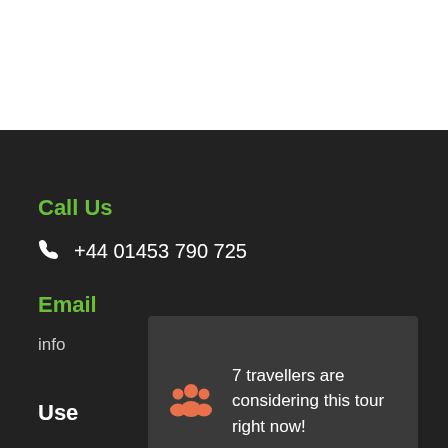Call Us
+44 01453 790 725
Email
info
7 travellers are considering this tour right now!
Use